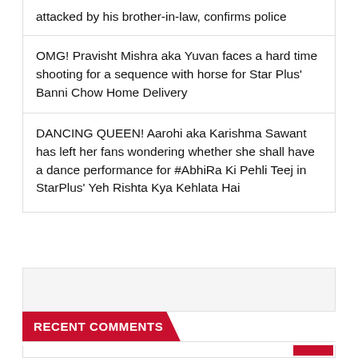attacked by his brother-in-law, confirms police
OMG! Pravisht Mishra aka Yuvan faces a hard time shooting for a sequence with horse for Star Plus' Banni Chow Home Delivery
DANCING QUEEN! Aarohi aka Karishma Sawant has left her fans wondering whether she shall have a dance performance for #AbhiRa Ki Pehli Teej in StarPlus' Yeh Rishta Kya Kehlata Hai
RECENT COMMENTS
License on This actress is all set to make her COMEBACK on TV after SEVEN years, b...